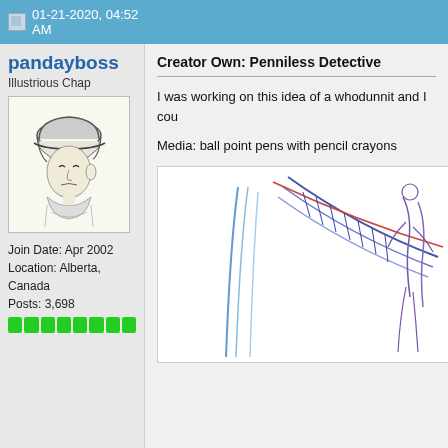01-21-2020, 04:52 AM
pandayboss
Illustrious Chap
[Figure (illustration): Pencil sketch of a soldier wearing a helmet, looking to the left, wearing a jacket]
Join Date: Apr 2002
Location: Alberta, Canada
Posts: 3,698
Creator Own: Penniless Detective
I was working on this idea of a whodunnit and I cou
Media: ball point pens with pencil crayons
[Figure (illustration): Sketch drawing with blue, purple and red lines suggesting figures and motion, drawn with ball point pens and pencil crayons]